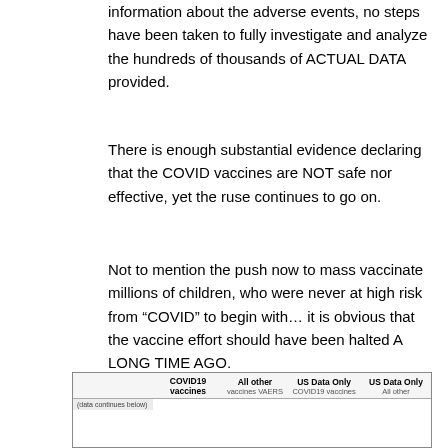information about the adverse events, no steps have been taken to fully investigate and analyze the hundreds of thousands of ACTUAL DATA provided.
There is enough substantial evidence declaring that the COVID vaccines are NOT safe nor effective, yet the ruse continues to go on.
Not to mention the push now to mass vaccinate millions of children, who were never at high risk from “COVID” to begin with… it is obvious that the vaccine effort should have been halted A LONG TIME AGO.
|  | COVID19 vaccines | All other | US Data Only COVID19 vaccines | US Data Only All other |
| --- | --- | --- | --- | --- |
| (first row appears cut off) |  |  |  |  |